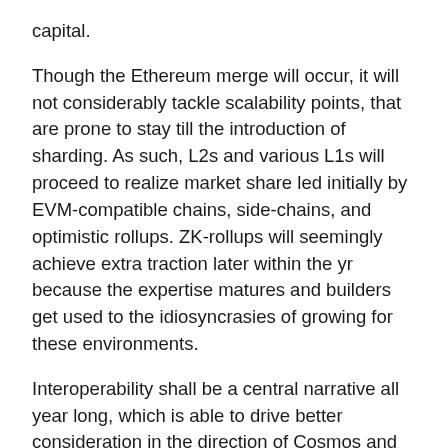capital.
Though the Ethereum merge will occur, it will not considerably tackle scalability points, that are prone to stay till the introduction of sharding. As such, L2s and various L1s will proceed to realize market share led initially by EVM-compatible chains, side-chains, and optimistic rollups. ZK-rollups will seemingly achieve extra traction later within the yr because the expertise matures and builders get used to the idiosyncrasies of growing for these environments.
Interoperability shall be a central narrative all year long, which is able to drive better consideration in the direction of Cosmos and Polkadot. Subsequently, cross-chain DeFi protocols will achieve better traction.
Elevated commoditization of L1s and L2s will imply that